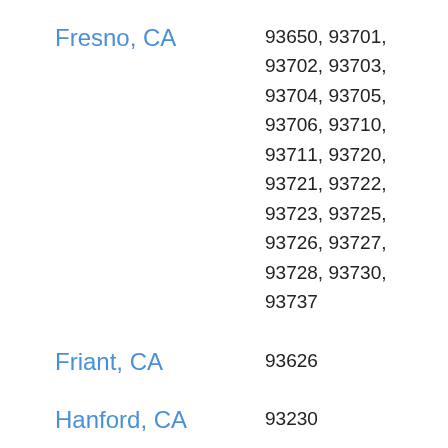Fresno, CA
93650, 93701, 93702, 93703, 93704, 93705, 93706, 93710, 93711, 93720, 93721, 93722, 93723, 93725, 93726, 93727, 93728, 93730, 93737
Friant, CA
93626
Hanford, CA
93230
Huron, CA
93234